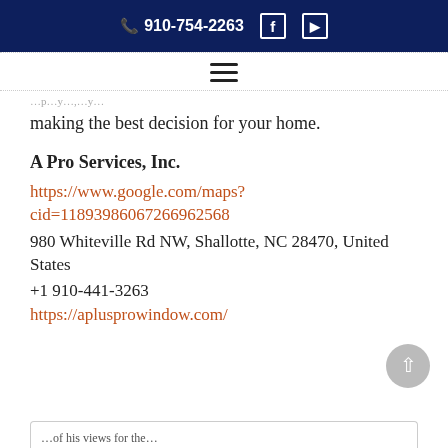📞 910-754-2263  f  ▶
making the best decision for your home.
A Pro Services, Inc.
https://www.google.com/maps?cid=11893986067266962568
980 Whiteville Rd NW, Shallotte, NC 28470, United States
+1 910-441-3263
https://aplusprowindow.com/